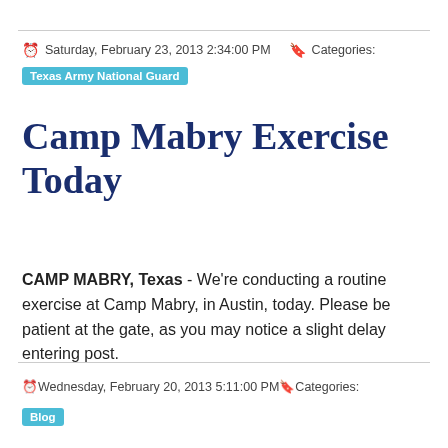Saturday, February 23, 2013 2:34:00 PM   Categories:
Texas Army National Guard
Camp Mabry Exercise Today
CAMP MABRY, Texas - We're conducting a routine exercise at Camp Mabry, in Austin, today. Please be patient at the gate, as you may notice a slight delay entering post.
Wednesday, February 20, 2013 5:11:00 PM   Categories:
Blog